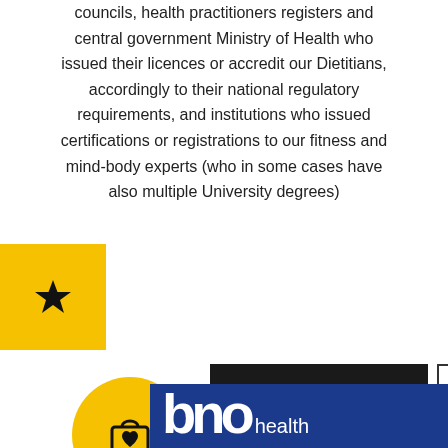councils, health practitioners registers and central government Ministry of Health who issued their licences or accredit our Dietitians, accordingly to their national regulatory requirements, and institutions who issued certifications or registrations to our fitness and mind-body experts (who in some cases have also multiple University degrees)
[Figure (other): Yellow square block with black star icon on the left edge of the page]
[Figure (other): Two buttons: dark 'Contact' button and outlined 'Book our experts' button]
[Figure (logo): Yellow circle with shopping bag and heart icon]
[Figure (logo): Blue banner with white bold letters and 'health' text - company logo footer]